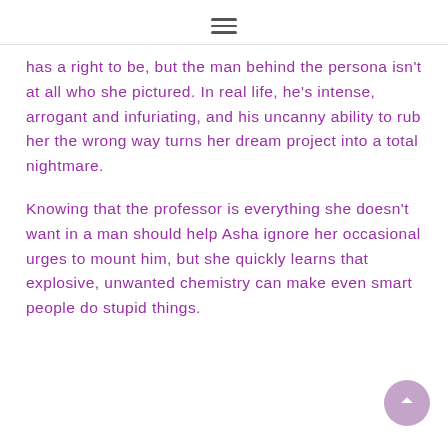☰
has a right to be, but the man behind the persona isn't at all who she pictured. In real life, he's intense, arrogant and infuriating, and his uncanny ability to rub her the wrong way turns her dream project into a total nightmare.
Knowing that the professor is everything she doesn't want in a man should help Asha ignore her occasional urges to mount him, but she quickly learns that explosive, unwanted chemistry can make even smart people do stupid things.